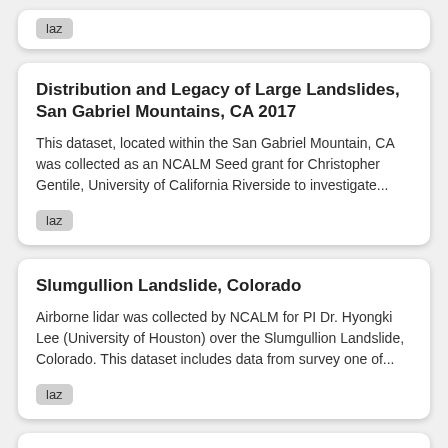laz
Distribution and Legacy of Large Landslides, San Gabriel Mountains, CA 2017
This dataset, located within the San Gabriel Mountain, CA was collected as an NCALM Seed grant for Christopher Gentile, University of California Riverside to investigate...
laz
Slumgullion Landslide, Colorado
Airborne lidar was collected by NCALM for PI Dr. Hyongki Lee (University of Houston) over the Slumgullion Landslide, Colorado. This dataset includes data from survey one of...
laz
Northern Rockies, Montana lidar 2016
NCALM Seed. PI: Sarah Sarojini Benjaram,